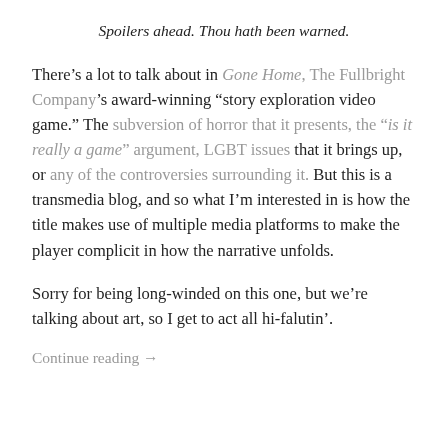Spoilers ahead. Thou hath been warned.
There’s a lot to talk about in Gone Home, The Fullbright Company’s award-winning “story exploration video game.” The subversion of horror that it presents, the “is it really a game” argument, LGBT issues that it brings up, or any of the controversies surrounding it. But this is a transmedia blog, and so what I’m interested in is how the title makes use of multiple media platforms to make the player complicit in how the narrative unfolds.
Sorry for being long-winded on this one, but we’re talking about art, so I get to act all hi-falutin’.
Continue reading →